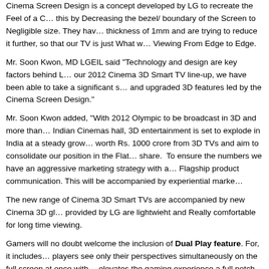Cinema Screen Design is a concept developed by LG to recreate the Feel of a Cinema, this by Decreasing the bezel/ boundary of the Screen to Negligible size. They have achieved a thickness of 1mm and are trying to reduce it further, so that our TV is just What we call Viewing From Edge to Edge.
Mr. Soon Kwon, MD LGEIL said “Technology and design are key factors behind LG, and with our 2012 Cinema 3D Smart TV line-up, we have been able to take a significant step in this direction and upgraded 3D features led by the Cinema Screen Design.”
Mr. Soon Kwon added, “With 2012 Olympic to be broadcast in 3D and more than 1000 Indian Cinemas hall, 3D entertainment is set to explode in India at a steady growth. We expect worth Rs. 1000 crore from 3D TVs and aim to consolidate our position in the Flat Panel market share. To ensure the numbers we have an aggressive marketing strategy with a 360 degree Flagship product communication. This will be accompanied by experiential marke…
The new range of Cinema 3D Smart TVs are accompanied by new Cinema 3D gl… provided by LG are lightwieht and Really comfortable for long time viewing.
Gamers will no doubt welcome the inclusion of Dual Play feature. For, it includes… players see only their perspectives simultaneously on the full screen at once with… elevates the gaming experience a full notch up, truly an encounter of the first kind… player game on their console and 3DTV, the TV failed to create an effective 3D e… versions from LG were quite successful doing that.